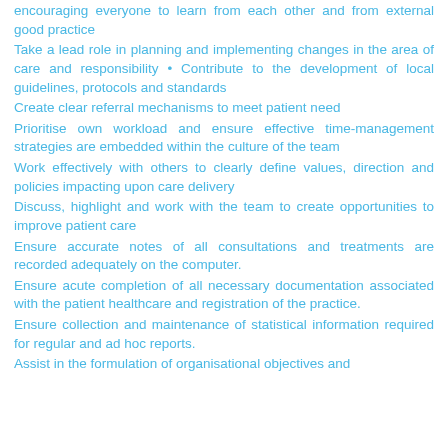encouraging everyone to learn from each other and from external good practice
Take a lead role in planning and implementing changes in the area of care and responsibility • Contribute to the development of local guidelines, protocols and standards
Create clear referral mechanisms to meet patient need
Prioritise own workload and ensure effective time-management strategies are embedded within the culture of the team
Work effectively with others to clearly define values, direction and policies impacting upon care delivery
Discuss, highlight and work with the team to create opportunities to improve patient care
Ensure accurate notes of all consultations and treatments are recorded adequately on the computer.
Ensure acute completion of all necessary documentation associated with the patient healthcare and registration of the practice.
Ensure collection and maintenance of statistical information required for regular and ad hoc reports.
Assist in the formulation of organisational objectives and...